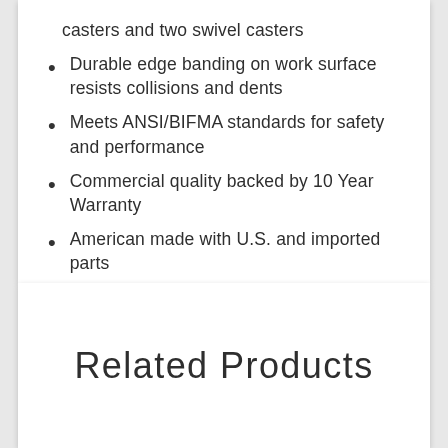casters and two swivel casters
Durable edge banding on work surface resists collisions and dents
Meets ANSI/BIFMA standards for safety and performance
Commercial quality backed by 10 Year Warranty
American made with U.S. and imported parts
Related Products